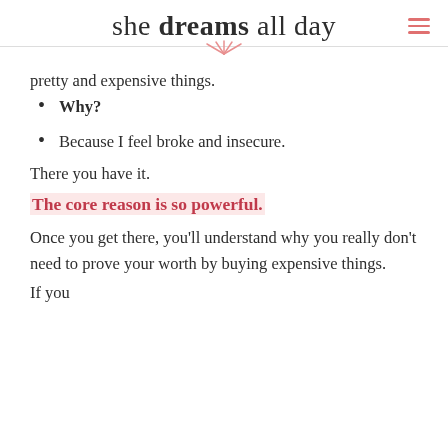she dreams all day
pretty and expensive things.
Why?
Because I feel broke and insecure.
There you have it.
The core reason is so powerful.
Once you get there, you'll understand why you really don't need to prove your worth by buying expensive things.
If you...